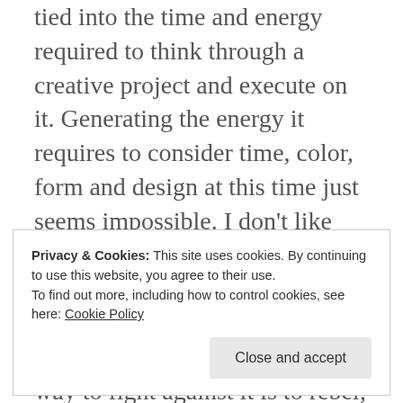tied into the time and energy required to think through a creative project and execute on it. Generating the energy it requires to consider time, color, form and design at this time just seems impossible. I don't like this. As an artistic person, the grayness and lack of vibrancy in the world right now is very disheartening. Maybe the best way to fight against it is to rebel; to somehow find the energy within to create something of beauty, no matter how small.
Privacy & Cookies: This site uses cookies. By continuing to use this website, you agree to their use.
To find out more, including how to control cookies, see here: Cookie Policy
Close and accept